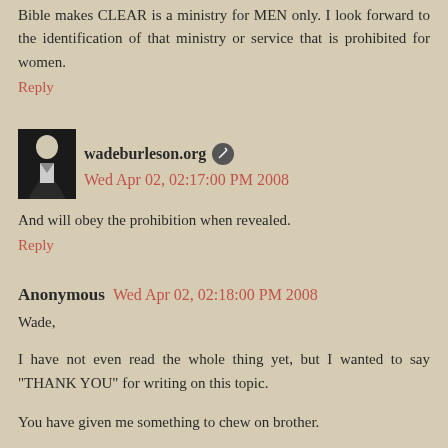Bible makes CLEAR is a ministry for MEN only. I look forward to the identification of that ministry or service that is prohibited for women.
Reply
wadeburleson.org  Wed Apr 02, 02:17:00 PM 2008
And will obey the prohibition when revealed.
Reply
Anonymous  Wed Apr 02, 02:18:00 PM 2008
Wade,
I have not even read the whole thing yet, but I wanted to say "THANK YOU" for writing on this topic.
You have given me something to chew on brother.
Thank you, thank you, thank you.